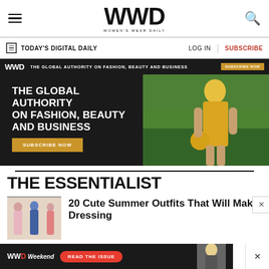WWD WOMEN'S WEAR DAILY
TODAY'S DIGITAL DAILY   LOG IN   SUBSCRIBE
[Figure (infographic): WWD advertisement banner: dark background with text 'THE GLOBAL AUTHORITY ON FASHION, BEAUTY AND BUSINESS' and a SUBSCRIBE NOW button, featuring a woman in a yellow dress with a yellow Chanel bag]
THE ESSENTIALIST
20 Cute Summer Outfits That Will Make Dressing
[Figure (infographic): Bottom banner ad: WWD Weekend — READ THE ISSUE button in red, with a blonde woman in background]